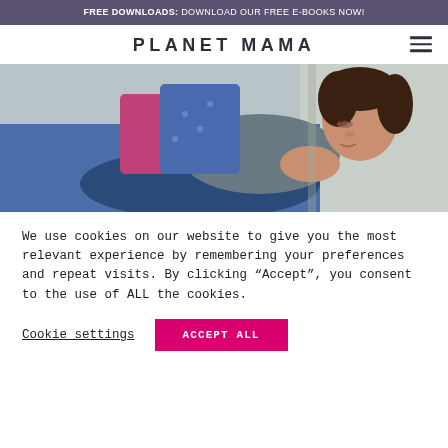FREE DOWNLOADS: DOWNLOAD OUR FREE E-BOOKS NOW!
PLANET MAMA
[Figure (photo): A woman lying on a bed or couch with colorful pillows, viewed from above, resting or sleeping]
We use cookies on our website to give you the most relevant experience by remembering your preferences and repeat visits. By clicking "Accept", you consent to the use of ALL the cookies.
Cookie settings
ACCEPT ALL